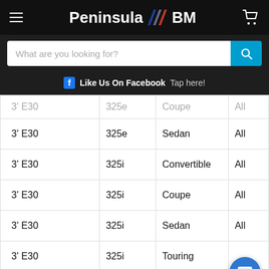Peninsula BM
What are you looking for?
Like Us On Facebook  Tap here!
| 3' E30 | 325e | Coupe | All |
| 3' E30 | 325e | Sedan | All |
| 3' E30 | 325i | Convertible | All |
| 3' E30 | 325i | Coupe | All |
| 3' E30 | 325i | Sedan | All |
| 3' E30 | 325i | Touring |  |
| 3' E30 | 325ix | Coupe | All |